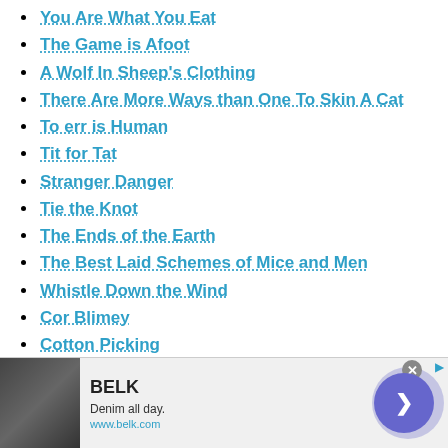You Are What You Eat
The Game is Afoot
A Wolf In Sheep's Clothing
There Are More Ways than One To Skin A Cat
To err is Human
Tit for Tat
Stranger Danger
Tie the Knot
The Ends of the Earth
The Best Laid Schemes of Mice and Men
Whistle Down the Wind
Cor Blimey
Cotton Picking
Count Your Chickens